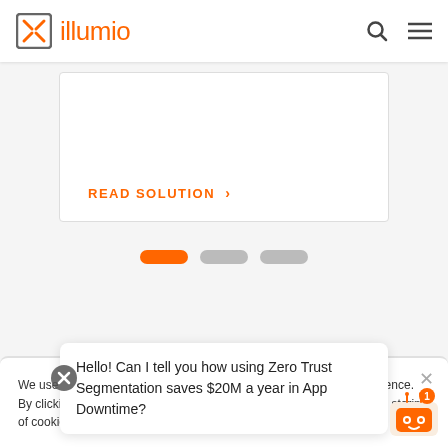[Figure (logo): Illumio logo with orange bracket/X icon and orange text 'illumio']
READ SOLUTION >
[Figure (infographic): Carousel navigation dots: one active orange pill and two inactive grey pills]
We use cookies to optimize site functionality and improve your experience. By clicking "Accept" cookies or continuing to browse, you agree to the storing of cookies on your device according to our cookie policy.
Hello! Can I tell you how using Zero Trust Segmentation saves $20M a year in App Downtime?